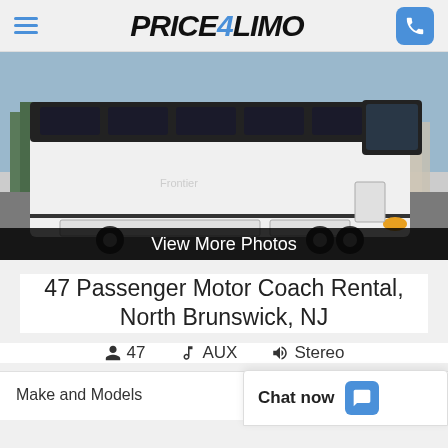Price4Limo
[Figure (photo): A large white 47-passenger motor coach bus parked in a lot, viewed from the front-left angle showing the full length of the bus. Dark tinted windows on top, white body below. Text overlay at bottom reads 'View More Photos'.]
47 Passenger Motor Coach Rental, North Brunswick, NJ
47  AUX  Stereo
Make and Models
Chat now